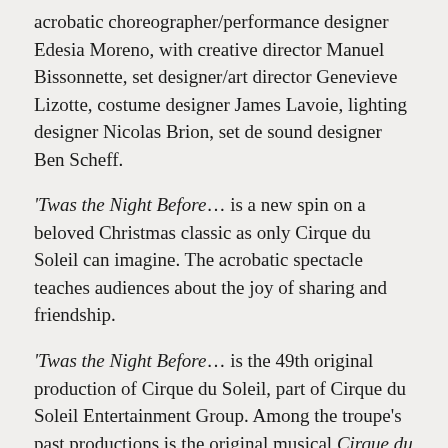acrobatic choreographer/performance designer Edesia Moreno, with creative director Manuel Bissonnette, set designer/art director Genevieve Lizotte, costume designer James Lavoie, lighting designer Nicolas Brion, set de sound designer Ben Scheff.
'Twas the Night Before... is a new spin on a beloved Christmas classic as only Cirque du Soleil can imagine. The acrobatic spectacle teaches audiences about the joy of sharing and friendship.
'Twas the Night Before... is the 49th original production of Cirque du Soleil, part of Cirque du Soleil Entertainment Group. Among the troupe's past productions is the original musical Cirque du Soleil Paramour, which made its world premiere at Broadway's Lyric Theatre in 2016.